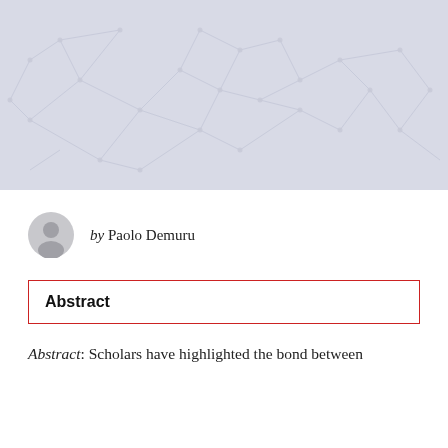[Figure (illustration): A light lavender/grey abstract network graph background image with interconnected nodes and lines forming a geometric pattern across the full width header area.]
by Paolo Demuru
Abstract
Abstract: Scholars have highlighted the bond between